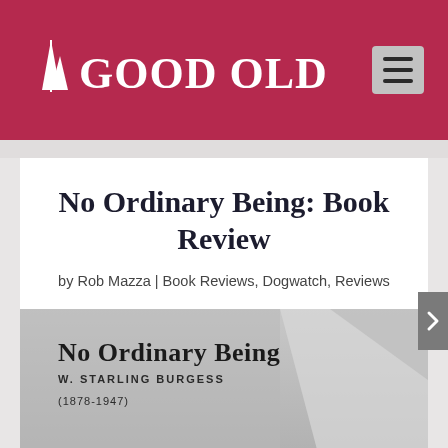Good Old Boat
No Ordinary Being: Book Review
by Rob Mazza | Book Reviews, Dogwatch, Reviews
[Figure (photo): Book cover image for 'No Ordinary Being' by W. Starling Burgess (1878-1947), shown in black and white with a sailboat sail in the background.]